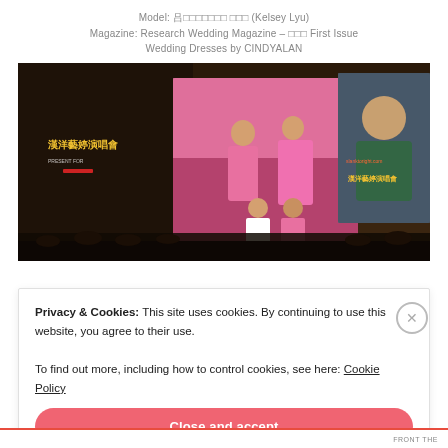Model: 呂○○○○○○○ 呂○○ (Kelsey Lyu)
Magazine: Research Wedding Magazine – ○○○ First Issue
Wedding Dresses by CINDYALAN
[Figure (photo): Concert stage performance photo showing performers in bright pink/magenta dresses on a large LED-screen stage with Chinese text banners reading what appears to be a concert advertisement.]
Privacy & Cookies: This site uses cookies. By continuing to use this website, you agree to their use.
To find out more, including how to control cookies, see here: Cookie Policy
Close and accept